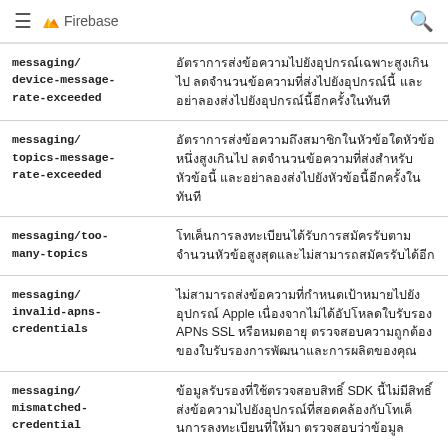Firebase
| Error code | Description |
| --- | --- |
| messaging/device-message-rate-exceeded | อัตราการส่งข้อความไปยังอุปกรณ์เฉพาะสูงเกินไป ลดจำนวนข้อความที่ส่งไปยังอุปกรณ์นี้ และอย่าลองส่งไปยังอุปกรณ์นี้อีกครั้งในทันที |
| messaging/topics-message-rate-exceeded | อัตราการส่งข้อความถึงสมาชิกในหัวข้อใดหัวข้อหนึ่งสูงเกินไป ลดจำนวนข้อความที่ส่งสำหรับหัวข้อนี้ และอย่าลองส่งไปยังหัวข้อนี้อีกครั้งในทันที |
| messaging/too-many-topics | โทเค็นการลงทะเบียนได้รับการสมัครรับตามจำนวนหัวข้อสูงสุดและไม่สามารถสมัครรับได้อีก |
| messaging/invalid-apns-credentials | ไม่สามารถส่งข้อความที่กำหนดเป้าหมายไปยังอุปกรณ์ Apple เนื่องจากไม่ได้อัปโหลดใบรับรอง APNs SSL หรือหมดอายุ ตรวจสอบความถูกต้องของใบรับรองการพัฒนาและการผลิตของคุณ |
| messaging/mismatched-credential | ข้อมูลรับรองที่ใช้ตรวจสอบสิทธิ์ SDK นี้ไม่มีสิทธิ์ส่งข้อความไปยังอุปกรณ์ที่สอดคล้องกับโทเค็นการลงทะเบียนที่ให้มา ตรวจสอบว่าข้อมูล |